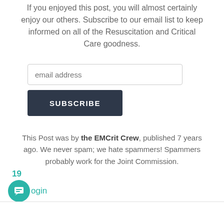If you enjoyed this post, you will almost certainly enjoy our others. Subscribe to our email list to keep informed on all of the Resuscitation and Critical Care goodness.
[Figure (other): Email subscription form with email address input field and SUBSCRIBE button]
This Post was by the EMCrit Crew, published 7 years ago. We never spam; we hate spammers! Spammers probably work for the Joint Commission.
19
login